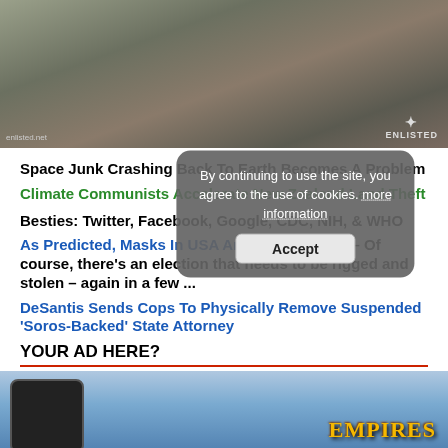[Figure (photo): Top banner image showing a person in winter gear holding a rifle/weapon outdoors in snowy setting, with 'ENLISTED' logo watermark in bottom right and 'enlisted.net' label in bottom left]
Space Junk Crashing Back To Earth Becomes A Problem
Climate Communists Accelerate New Zealand Land Theft
Besties: Twitter, Facebook, Google, CDC, NIH, & WHO
As Predicted, Masks In USA Are Coming Back – Of course, there's an election that needs to be rigged and stolen – again in a few ...
DeSantis Sends Cops To Physically Remove Suspended 'Soros-Backed' State Attorney
YOUR AD HERE?
By continuing to use the site, you agree to the use of cookies. more information
[Figure (screenshot): Bottom banner advertisement showing a mobile phone on left and 'EMPIRES' game text on right against a blue sky background]